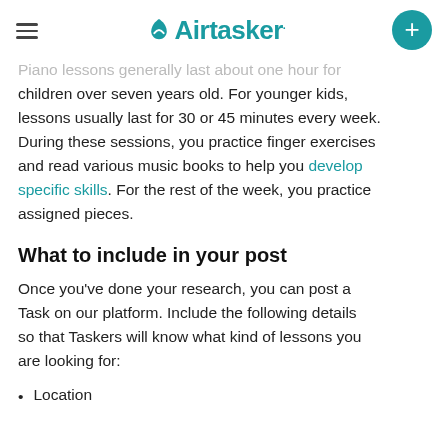Airtasker
Piano lessons generally last about one hour for children over seven years old. For younger kids, lessons usually last for 30 or 45 minutes every week. During these sessions, you practice finger exercises and read various music books to help you develop specific skills. For the rest of the week, you practice assigned pieces.
What to include in your post
Once you've done your research, you can post a Task on our platform. Include the following details so that Taskers will know what kind of lessons you are looking for:
Location